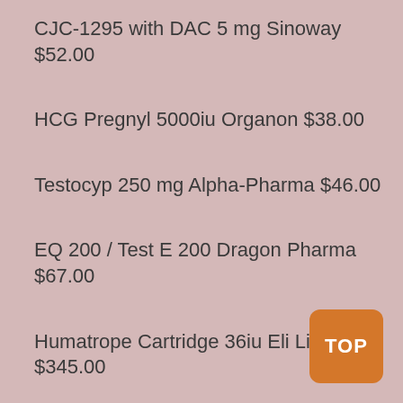CJC-1295 with DAC 5 mg Sinoway $52.00
HCG Pregnyl 5000iu Organon $38.00
Testocyp 250 mg Alpha-Pharma $46.00
EQ 200 / Test E 200 Dragon Pharma $67.00
Humatrope Cartridge 36iu Eli Lilly $345.00
Tamodex 20 mg Biochem $10.00